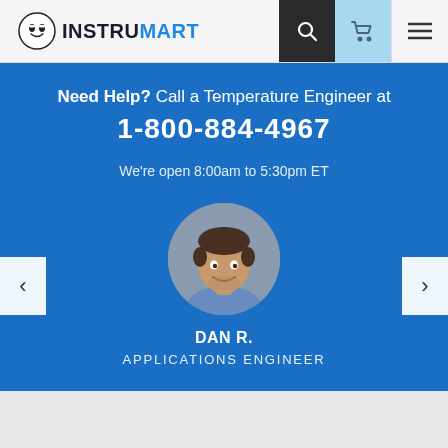INSTRUMART
Need Help? Call a Temperature Engineer at 1-800-884-4967
We're open 8:00am to 5:30pm ET
[Figure (photo): Circular profile photo of Dan R., Applications Engineer, a young man with curly hair smiling, on a gray background]
DAN R.
APPLICATIONS ENGINEER